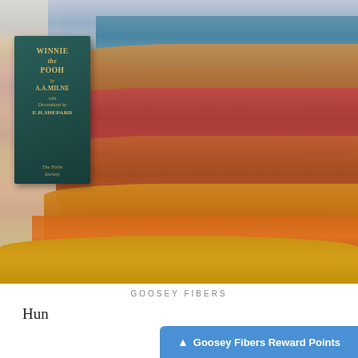[Figure (photo): Photo of colorful hand-dyed yarn skeins in shades of gold, orange, rust, red, teal, and purple arranged next to a Winnie the Pooh book by A.A. Milne from The Folio Society, placed on a white wooden surface.]
GOOSEY FIBERS
Hun
Goosey Fibers Reward Points